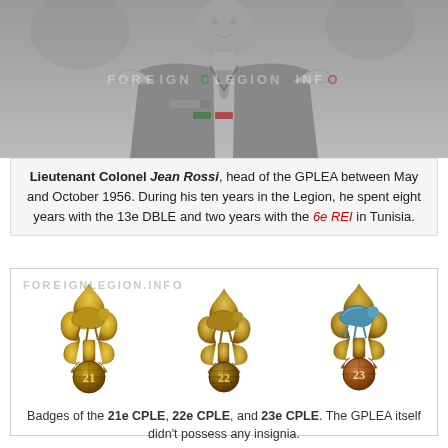[Figure (photo): Black and white photograph of a military officer, upper body visible, wearing a uniform with epaulettes. Watermark reading FOREIGN LEGION INFO overlaid.]
Lieutenant Colonel Jean Rossi, head of the GPLEA between May and October 1956. During his ten years in the Legion, he spent eight years with the 13e DBLE and two years with the 6e REI in Tunisia.
[Figure (photo): Three military badges of the 21e CPLE, 22e CPLE, and 23e CPLE, each showing a leaping gazelle over a grenade fleur-de-lis design with a numbered ball at the bottom. Watermark FOREIGNLEGION.INFO overlaid.]
Badges of the 21e CPLE, 22e CPLE, and 23e CPLE. The GPLEA itself didn't possess any insignia.